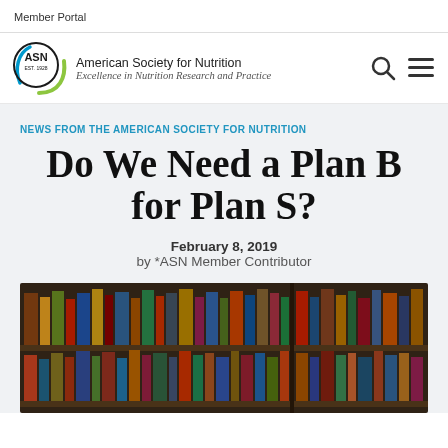Member Portal
[Figure (logo): American Society for Nutrition (ASN) logo with circular graphic and text: 'American Society for Nutrition, Excellence in Nutrition Research and Practice']
NEWS FROM THE AMERICAN SOCIETY FOR NUTRITION
Do We Need a Plan B for Plan S?
February 8, 2019
by *ASN Member Contributor
[Figure (photo): Photo of books arranged on library shelves, showing colorful spines of various books]